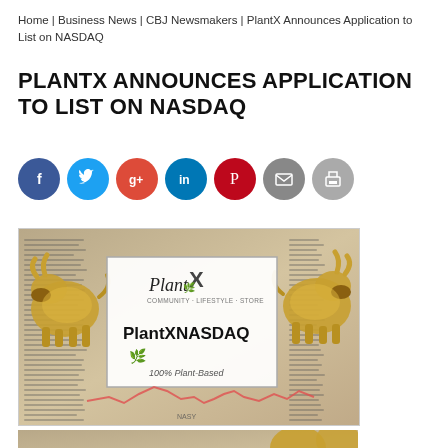Home | Business News | CBJ Newsmakers | PlantX Announces Application to List on NASDAQ
PLANTX ANNOUNCES APPLICATION TO LIST ON NASDAQ
[Figure (other): Row of social media share buttons: Facebook (blue), Twitter (light blue), Google+ (red-orange), LinkedIn (dark blue), Pinterest (dark red), Email (gray), Print (gray)]
[Figure (photo): PlantX NASDAQ promotional image showing golden bull figurines on financial newspaper background with PlantX card overlay displaying 'PlantX NASDAQ' text and '100% Plant-Based' tagline]
[Figure (photo): Partial second image showing golden bull figurines on financial newspaper background, cropped at bottom of page]